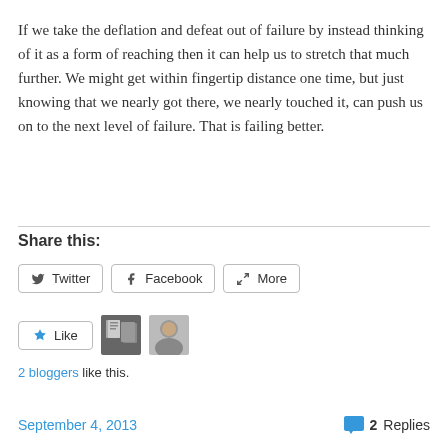If we take the deflation and defeat out of failure by instead thinking of it as a form of reaching then it can help us to stretch that much further. We might get within fingertip distance one time, but just knowing that we nearly got there, we nearly touched it, can push us on to the next level of failure. That is failing better.
Share this:
[Figure (other): Social share buttons: Twitter, Facebook, More]
[Figure (other): Like button with two blogger avatars. 2 bloggers like this.]
September 4, 2013    2 Replies